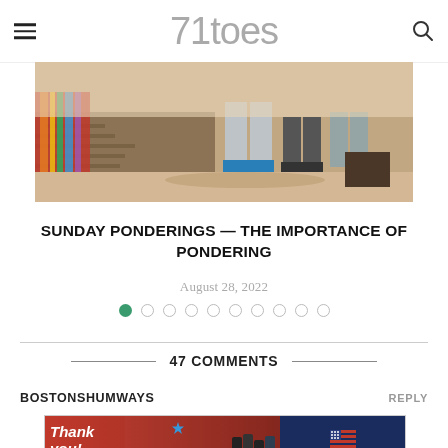71toes
[Figure (photo): Outdoor photo showing people's legs and feet near a stone wall, colorful cloth visible on the left, sunny dirt ground]
SUNDAY PONDERINGS — THE IMPORTANCE OF PONDERING
August 28, 2022
[Figure (other): Pagination dots: one filled green dot followed by nine empty circle dots]
47 COMMENTS
BOSTONSHUMWAYS
[Figure (other): Advertisement banner: Thank you message with firefighters photo on red background on left, Operation Gratitude logo on dark blue background on right]